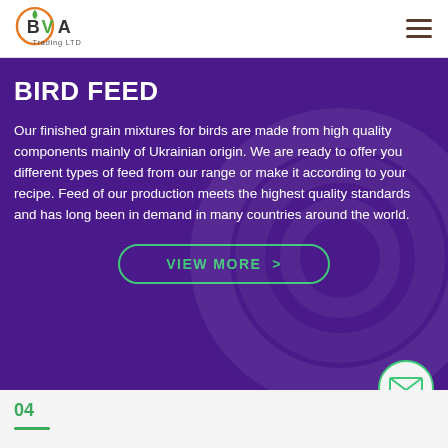BVA Trading LTD
BIRD FEED
Our finished grain mixtures for birds are made from high quality components mainly of Ukrainian origin. We are ready to offer you different types of feed from our range or make it according to your recipe. Feed of our production meets the highest quality standards and has long been in demand in many countries around the world.
VIEW MORE >
04